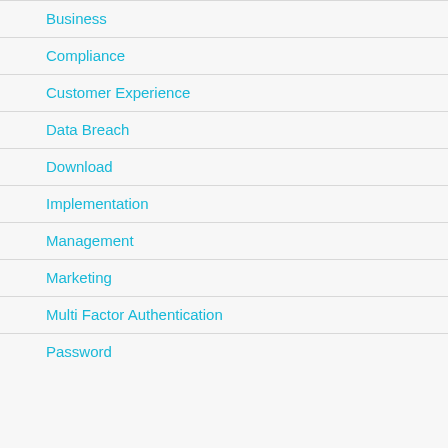Business
Compliance
Customer Experience
Data Breach
Download
Implementation
Management
Marketing
Multi Factor Authentication
Password